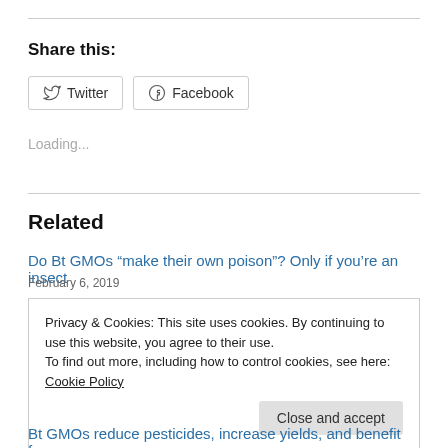Share this:
Twitter  Facebook
Loading...
Related
Do Bt GMOs “make their own poison”? Only if you’re an insect
February 6, 2019
Privacy & Cookies: This site uses cookies. By continuing to use this website, you agree to their use.
To find out more, including how to control cookies, see here: Cookie Policy
Close and accept
Bt GMOs reduce pesticides, increase yields, and benefit farmers